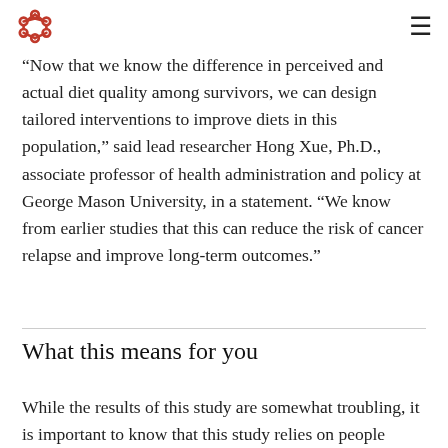[Logo] [Menu icon]
“Now that we know the difference in perceived and actual diet quality among survivors, we can design tailored interventions to improve diets in this population,” said lead researcher Hong Xue, Ph.D., associate professor of health administration and policy at George Mason University, in a statement. “We know from earlier studies that this can reduce the risk of cancer relapse and improve long-term outcomes.”
What this means for you
While the results of this study are somewhat troubling, it is important to know that this study relies on people accurately reporting what they eat. Sometimes people may forget what